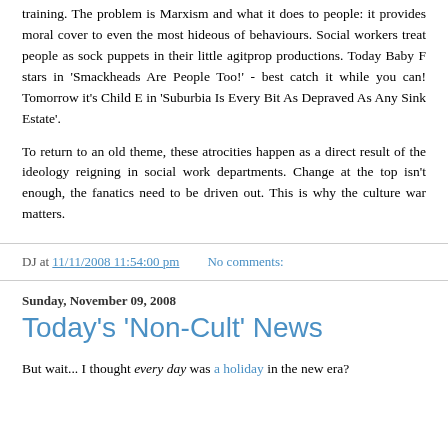training. The problem is Marxism and what it does to people: it provides moral cover to even the most hideous of behaviours. Social workers treat people as sock puppets in their little agitprop productions. Today Baby F stars in 'Smackheads Are People Too!' - best catch it while you can! Tomorrow it's Child E in 'Suburbia Is Every Bit As Depraved As Any Sink Estate'.
To return to an old theme, these atrocities happen as a direct result of the ideology reigning in social work departments. Change at the top isn't enough, the fanatics need to be driven out. This is why the culture war matters.
DJ at 11/11/2008 11:54:00 pm    No comments:
Sunday, November 09, 2008
Today's 'Non-Cult' News
But wait... I thought every day was a holiday in the new era?